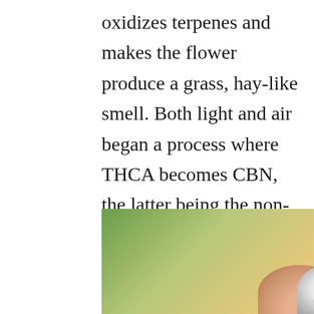oxidizes terpenes and makes the flower produce a grass, hay-like smell. Both light and air began a process where THCA becomes CBN, the latter being the non-intoxicating brother of THC. If stored properly and away from light and air, marijuana can last from 1-2 years.
[Figure (photo): A blurred photo of a hand holding a humidity/temperature gauge, with blurred green and warm-toned background. Bold white text overlay reads 'HUMIDITY AND TEMPERATURE'.]